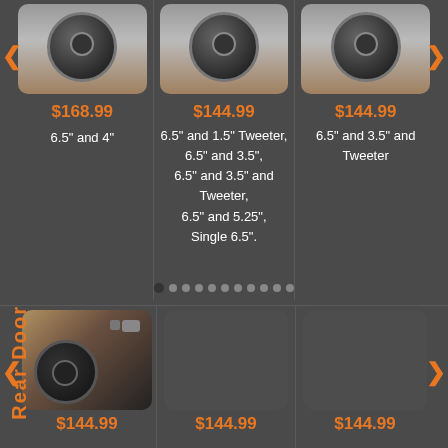[Figure (photo): Car speaker mounted in door panel, top-left column]
$168.99
6.5" and 4"
[Figure (photo): Car speaker mounted in door panel, top-center column]
$144.99
6.5" and 1.5" Tweeter, 6.5" and 3.5", 6.5" and 3.5" and Tweeter, 6.5" and 5.25", Single 6.5".
[Figure (photo): Car speaker mounted in door panel, top-right column]
$144.99
6.5" and 3.5" and Tweeter
Rear Door
[Figure (photo): Car rear door interior with speaker, bottom-left]
$144.99
$144.99
$144.99